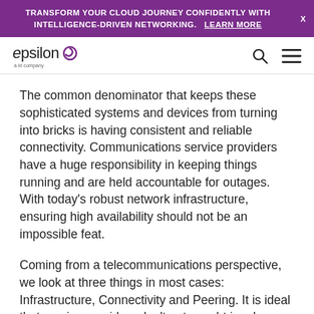TRANSFORM YOUR CLOUD JOURNEY CONFIDENTLY WITH INTELLIGENCE-DRIVEN NETWORKING.    LEARN MORE
[Figure (logo): Epsilon logo with purple swirl mark and 'a kt company' tagline, plus search and hamburger menu icons]
The common denominator that keeps these sophisticated systems and devices from turning into bricks is having consistent and reliable connectivity. Communications service providers have a huge responsibility in keeping things running and are held accountable for outages. With today's robust network infrastructure, ensuring high availability should not be an impossible feat.
Coming from a telecommunications perspective, we look at three things in most cases: Infrastructure, Connectivity and Peering. It is ideal that service providers don't get caught in a knee-jerk reaction mode. Having the foresight and capability in handling